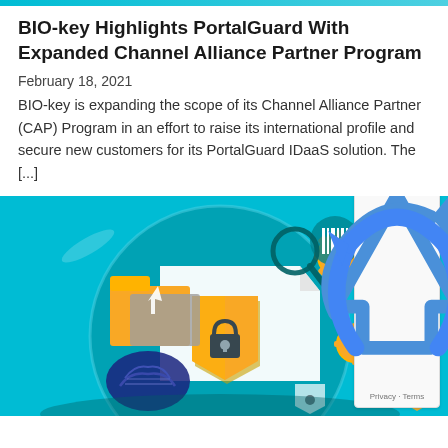BIO-key Highlights PortalGuard With Expanded Channel Alliance Partner Program
February 18, 2021
BIO-key is expanding the scope of its Channel Alliance Partner (CAP) Program in an effort to raise its international profile and secure new customers for its PortalGuard IDaaS solution. The [...]
[Figure (illustration): Cybersecurity illustration with teal background showing a shield with padlock, gears, folders, fingerprint, and barcode icons arranged in a circular composition representing identity and access management security concepts.]